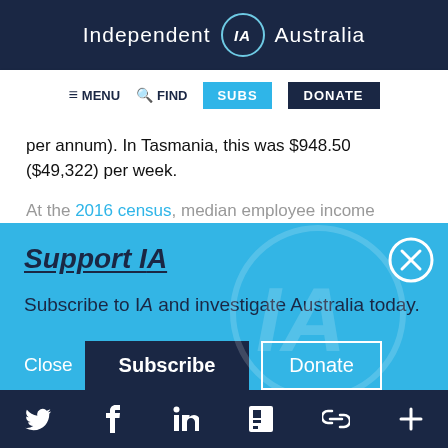Independent IA Australia
[Figure (screenshot): Navigation bar with MENU, FIND, SUBS, and DONATE buttons]
per annum). In Tasmania, this was $948.50 ($49,322) per week.
At the 2016 census, median employee income
Support IA
Subscribe to IA and investigate Australia today.
Close  Subscribe  Donate
Social media icons: Twitter, Facebook, LinkedIn, Flipboard, Link, Plus